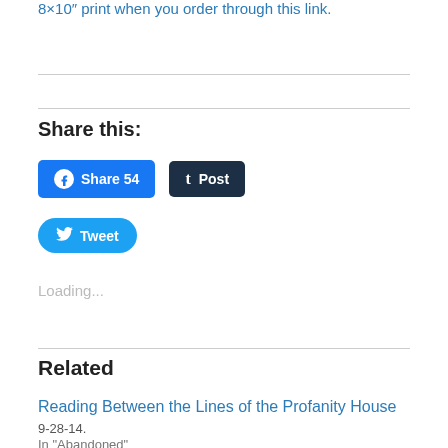8×10″ print when you order through this link.
Share this:
Facebook Share 54
Tumblr Post
Twitter Tweet
Loading...
Related
Reading Between the Lines of the Profanity House
9-28-14.
In "Abandoned"